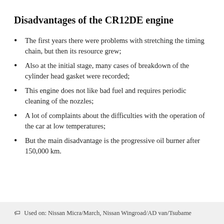Disadvantages of the CR12DE engine
The first years there were problems with stretching the timing chain, but then its resource grew;
Also at the initial stage, many cases of breakdown of the cylinder head gasket were recorded;
This engine does not like bad fuel and requires periodic cleaning of the nozzles;
A lot of complaints about the difficulties with the operation of the car at low temperatures;
But the main disadvantage is the progressive oil burner after 150,000 km.
Used on: Nissan Micra/March, Nissan Wingroad/AD van/Tsubame